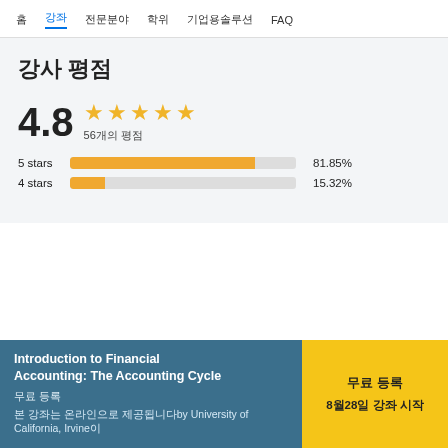홈  강좌  전문분야  학위  기업용솔루션  FAQ
강사 평점
4.8  ★★★★★  56개의 평점
5 stars  81.85%
4 stars  15.32%
Introduction to Financial Accounting: The Accounting Cycle  무료 등록  8월28일 강좌 시작  본 강좌는 온라인으로 제공됩니다. by University of California, Irvine이